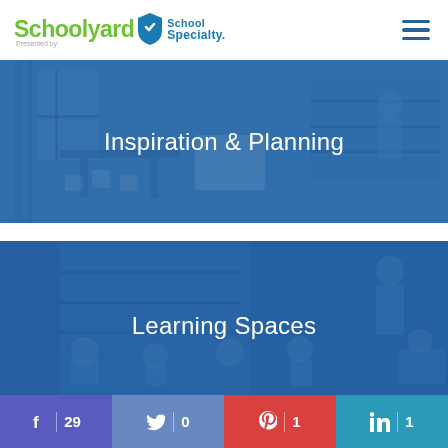[Figure (logo): Schoolyard logo presented by School Specialty with shield icon]
[Figure (photo): Blue-tinted classroom interior with desks and chairs, overlay reading Inspiration & Planning]
Inspiration & Planning
[Figure (photo): Blue-tinted classroom with students sitting on floor, overlay reading Learning Spaces]
Learning Spaces
f 29 | 0 | P 1 | in 1